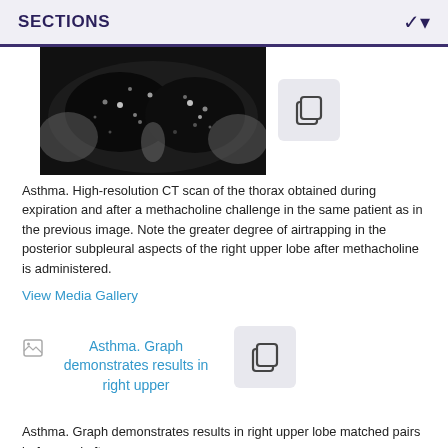SECTIONS
[Figure (photo): High-resolution CT scan of the thorax showing lung tissue with airtrapping in posterior subpleural aspects]
Asthma. High-resolution CT scan of the thorax obtained during expiration and after a methacholine challenge in the same patient as in the previous image. Note the greater degree of airtrapping in the posterior subpleural aspects of the right upper lobe after methacholine is administered.
View Media Gallery
[Figure (other): Asthma. Graph demonstrates results in right upper (image placeholder with broken image icon)]
Asthma. Graph demonstrates results in right upper lobe matched pairs before and after a